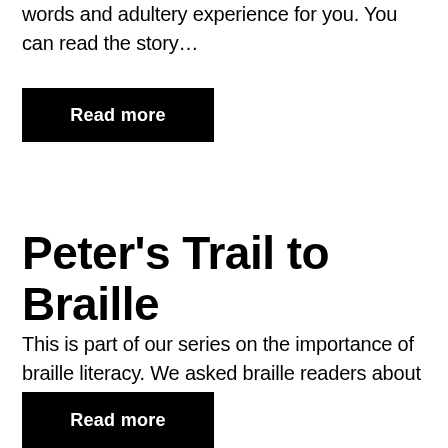words and adultery experience for you. You can read the story…
Read more
Peter's Trail to Braille
This is part of our series on the importance of braille literacy. We asked braille readers about their introduction to…
Read more